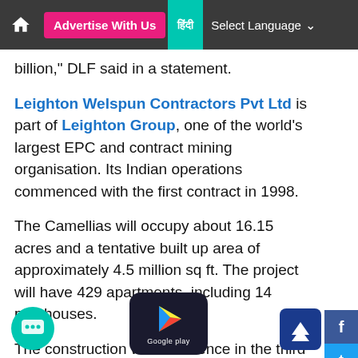Advertise With Us | हिंदी | Select Language
billion," DLF said in a statement.
Leighton Welspun Contractors Pvt Ltd is part of Leighton Group, one of the world's largest EPC and contract mining organisation. Its Indian operations commenced with the first contract in 1998.
The Camellias will occupy about 16.15 acres and a tentative built up area of approximately 4.5 million sq ft. The project will have 429 apartments, including 14 penthouses.
The construction will commence in the third quarter of 2013 and will be completed by third quarter of 2017.
In order to expedite the delivery of projects, DLF has decided to outsource the construction to third parties.